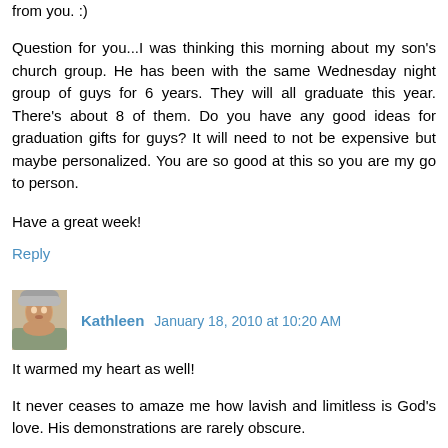from you. :)
Question for you...I was thinking this morning about my son's church group. He has been with the same Wednesday night group of guys for 6 years. They will all graduate this year. There's about 8 of them. Do you have any good ideas for graduation gifts for guys? It will need to not be expensive but maybe personalized. You are so good at this so you are my go to person.
Have a great week!
Reply
Kathleen  January 18, 2010 at 10:20 AM
It warmed my heart as well!
It never ceases to amaze me how lavish and limitless is God's love. His demonstrations are rarely obscure.
Blessings,
Kathleen